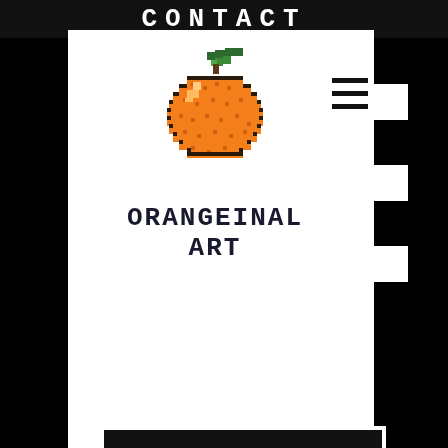CONTACT
[Figure (logo): Pixel-art orange fruit logo with green leaf stem, above text reading ORANGEiNAL ART in monospace font]
[Figure (other): Hamburger menu icon (three horizontal lines)]
SUBMIT
[Figure (other): Social media icons: Instagram, Facebook, Tumblr, YouTube]
© 2020 x Sarah Quildon